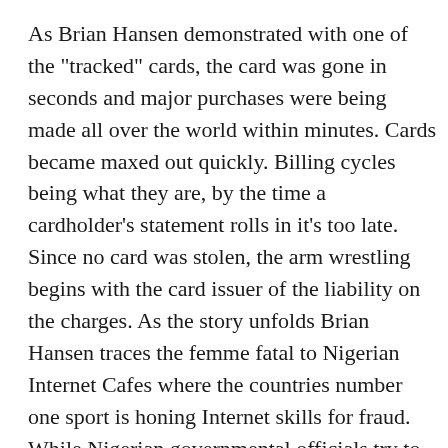As Brian Hansen demonstrated with one of the "tracked" cards, the card was gone in seconds and major purchases were being made all over the world within minutes. Cards became maxed out quickly. Billing cycles being what they are, by the time a cardholder's statement rolls in it's too late. Since no card was stolen, the arm wrestling begins with the card issuer of the liability on the charges. As the story unfolds Brian Hansen traces the femme fatal to Nigerian Internet Cafes where the countries number one sport is honing Internet skills for fraud. While Nigerian governmental officials try to root out the problem, "wink, wink", the illicit activity continues. The Internet Cafes in Nigeria remain very popular. Dateline set up its own sting operation involving their own online electronic store using credit cards working in concert with a set up "special" delivery company to track the purchases and movement of